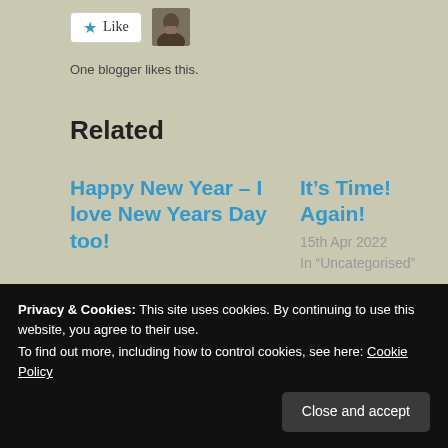[Figure (other): Like button with star icon and a blogger avatar photo]
One blogger likes this.
Related
Happy New Year – I love New Years Day too!
1st Jan 2022
In "Uncategorised"
It's Time! Again!
15th Apr 2022
In "Uncategorised"
Motivation
Privacy & Cookies: This site uses cookies. By continuing to use this website, you agree to their use.
To find out more, including how to control cookies, see here: Cookie Policy
Close and accept